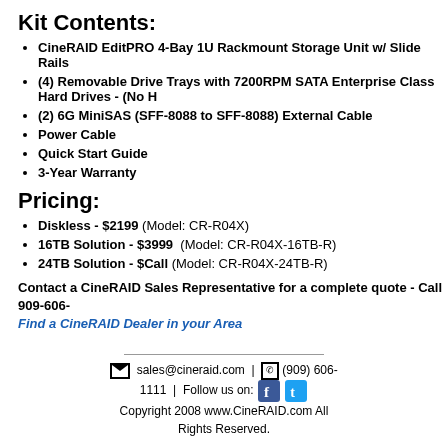Kit Contents:
CineRAID EditPRO 4-Bay 1U Rackmount Storage Unit w/ Slide Rails
(4) Removable Drive Trays with 7200RPM SATA Enterprise Class Hard Drives - (No H...
(2) 6G MiniSAS (SFF-8088 to SFF-8088) External Cable
Power Cable
Quick Start Guide
3-Year Warranty
Pricing:
Diskless - $2199 (Model: CR-R04X)
16TB Solution - $3999  (Model: CR-R04X-16TB-R)
24TB Solution - $Call (Model: CR-R04X-24TB-R)
Contact a CineRAID Sales Representative for a complete quote - Call 909-606-
Find a CineRAID Dealer in your Area
sales@cineraid.com | (909) 606-1111 | Follow us on: [Facebook] [Twitter]
Copyright 2008 www.CineRAID.com All Rights Reserved.